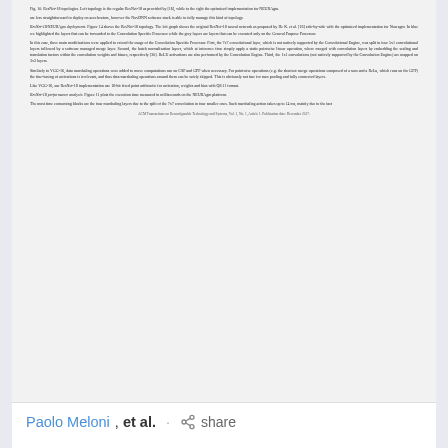[Figure (screenshot): Preview of a scientific paper page showing text about ResNet-18 deployment and ACM Transactions on Reconfigurable Technology and Systems footer]
Paolo Meloni, et al. · share
research · 4 years ago
A Transprecision Floating-Point Platform for Ultra-Low Power Computing
In modern low-power embedded platforms, floating-point (FP)